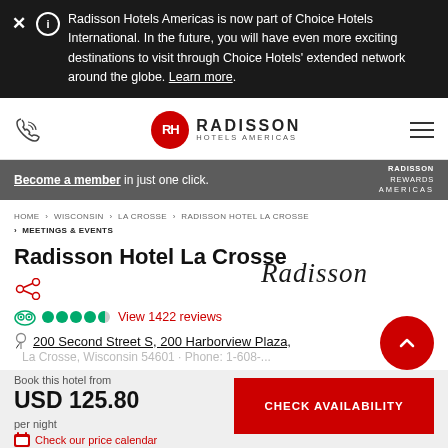Radisson Hotels Americas is now part of Choice Hotels International. In the future, you will have even more exciting destinations to visit through Choice Hotels' extended network around the globe. Learn more.
[Figure (logo): Radisson Hotels Americas navigation bar with phone icon, logo, and hamburger menu]
Become a member in just one click. RADISSON REWARDS AMERICAS
HOME > WISCONSIN > LA CROSSE > RADISSON HOTEL LA CROSSE > MEETINGS & EVENTS
Radisson Hotel La Crosse
View 1422 reviews
200 Second Street S, 200 Harborview Plaza,
Book this hotel from
USD 125.80
per night
CHECK AVAILABILITY
Check our price calendar